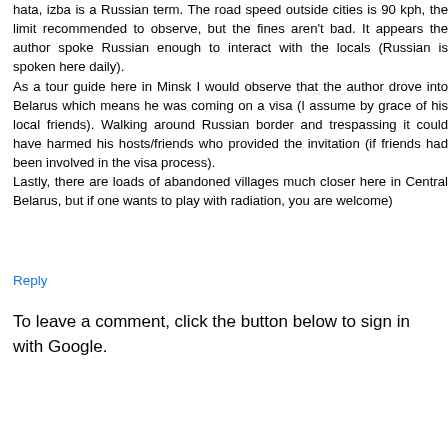hata, izba is a Russian term. The road speed outside cities is 90 kph, the limit recommended to observe, but the fines aren't bad. It appears the author spoke Russian enough to interact with the locals (Russian is spoken here daily). As a tour guide here in Minsk I would observe that the author drove into Belarus which means he was coming on a visa (I assume by grace of his local friends). Walking around Russian border and trespassing it could have harmed his hosts/friends who provided the invitation (if friends had been involved in the visa process). Lastly, there are loads of abandoned villages much closer here in Central Belarus, but if one wants to play with radiation, you are welcome)
Reply
To leave a comment, click the button below to sign in with Google.
SIGN IN WITH GOOGLE